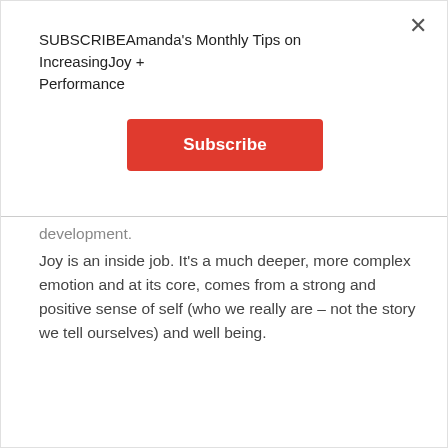SUBSCRIBEAmanda's Monthly Tips on IncreasingJoy + Performance
Subscribe
development.
Joy is an inside job. It's a much deeper, more complex emotion and at its core, comes from a strong and positive sense of self (who we really are – not the story we tell ourselves) and well being.
How you feel about yourself changes everything! It's at the core of cultural change. It's at the core of all great businesses.
If you feel good about yourself, collaboration, communication and support of others is automatic – making individuals more engaged and teams more effective.